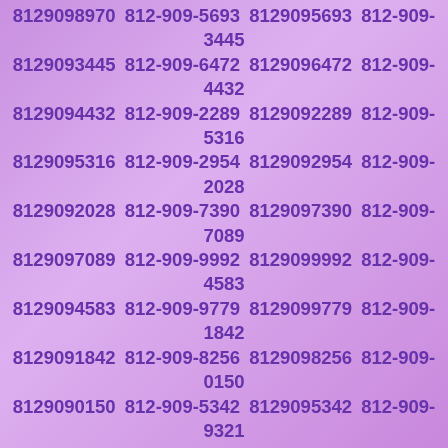8129098970 812-909-5693 8129095693 812-909-3445 8129093445 812-909-6472 8129096472 812-909-4432 8129094432 812-909-2289 8129092289 812-909-5316 8129095316 812-909-2954 8129092954 812-909-2028 8129092028 812-909-7390 8129097390 812-909-7089 8129097089 812-909-9992 8129099992 812-909-4583 8129094583 812-909-9779 8129099779 812-909-1842 8129091842 812-909-8256 8129098256 812-909-0150 8129090150 812-909-5342 8129095342 812-909-9321 8129099321 812-909-6685 8129096685 812-909-4100 8129094100 812-909-4838 8129094838 812-909-4196 8129094196 812-909-0143 8129090143 812-909-4894 8129094894 812-909-7903 8129097903 812-909-8771 8129098771 812-909-6123 8129096123 812-909-0040 8129090040 812-909-4146 8129094146 812-909-7822 8129097822 812-909-6489 8129096489 812-909-4916 8129094916 812-909-8397 8129098397 812-909-7461 8129097461 812-909-2199 8129092199 812-909-2375 8129092375 812-909-3208 8129093208 812-909-9265 8129099265 812-909-1119 8129091119 812-909-7814 8129097814 812-909-1394 8129091394 812-909-4560